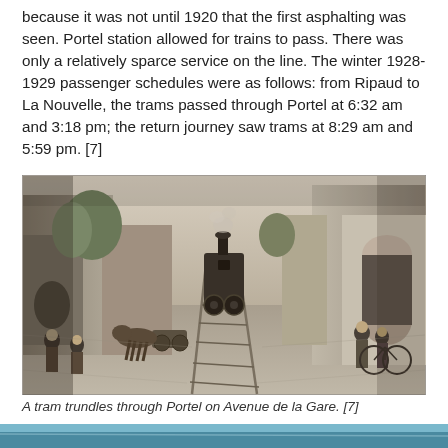because it was not until 1920 that the first asphalting was seen. Portel station allowed for trains to pass. There was only a relatively sparce service on the line. The winter 1928-1929 passenger schedules were as follows: from Ripaud to La Nouvelle, the trams passed through Portel at 6:32 am and 3:18 pm; the return journey saw trams at 8:29 am and 5:59 pm. [7]
[Figure (photo): Historical black and white photograph of a steam tram trundling through Portel on Avenue de la Gare. People are standing on either side of a narrow street lined with stone buildings. The tram/locomotive is seen coming down the center of the street on rails.]
A tram trundles through Portel on Avenue de la Gare. [7]
[Figure (photo): Partial view of another photograph at the bottom of the page, appearing to show a modern or colored scene, partially cut off.]